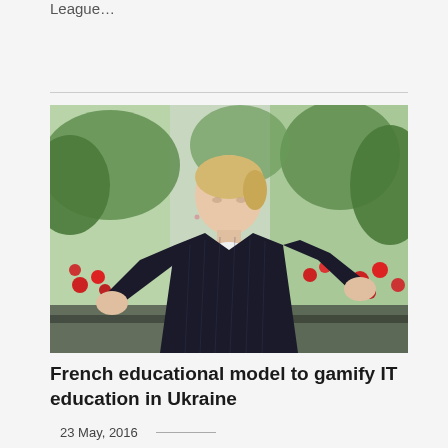League…
[Figure (photo): A blonde woman in a dark pinstripe blazer gesturing with both hands raised, sitting in front of green foliage and red flowers near large windows. She appears to be speaking or explaining something.]
French educational model to gamify IT education in Ukraine
23 May, 2016